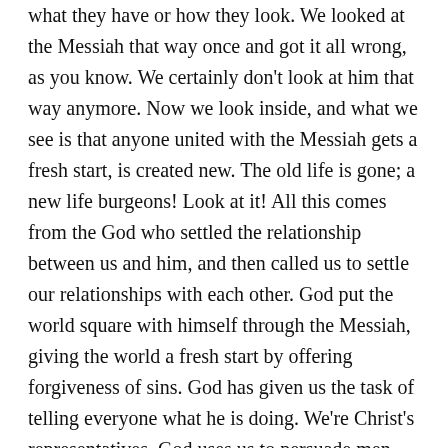what they have or how they look. We looked at the Messiah that way once and got it all wrong, as you know. We certainly don't look at him that way anymore. Now we look inside, and what we see is that anyone united with the Messiah gets a fresh start, is created new. The old life is gone; a new life burgeons! Look at it! All this comes from the God who settled the relationship between us and him, and then called us to settle our relationships with each other. God put the world square with himself through the Messiah, giving the world a fresh start by offering forgiveness of sins. God has given us the task of telling everyone what he is doing. We're Christ's representatives. God uses us to persuade men and women to drop their differences and enter into God's work of making things right between them. We're speaking for Christ himself now: Become friends with God; he's already a friend with you.